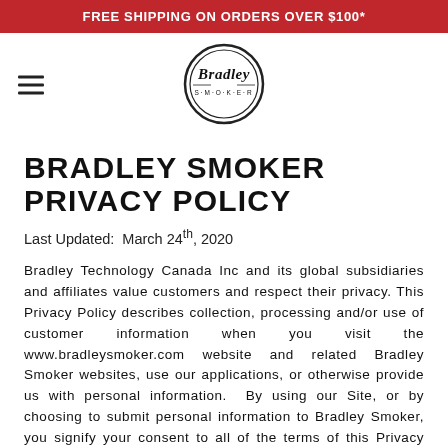FREE SHIPPING ON ORDERS OVER $100*
[Figure (logo): Bradley Smoker circular logo with script text 'Bradley' and 'S·M·O·K·E·R' below]
BRADLEY SMOKER PRIVACY POLICY
Last Updated:  March 24th, 2020
Bradley Technology Canada Inc and its global subsidiaries and affiliates value customers and respect their privacy. This Privacy Policy describes collection, processing and/or use of customer information when you visit the www.bradleysmoker.com website and related Bradley Smoker websites, use our applications, or otherwise provide us with personal information.  By using our Site, or by choosing to submit personal information to Bradley Smoker, you signify your consent to all of the terms of this Privacy Policy. If you do not agree with any terms of this Privacy Policy, please do not